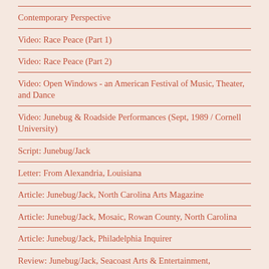Contemporary Perspective
Video: Race Peace (Part 1)
Video: Race Peace (Part 2)
Video: Open Windows - an American Festival of Music, Theater, and Dance
Video: Junebug & Roadside Performances (Sept, 1989 / Cornell University)
Script: Junebug/Jack
Letter: From Alexandria, Louisiana
Article: Junebug/Jack, North Carolina Arts Magazine
Article: Junebug/Jack, Mosaic, Rowan County, North Carolina
Article: Junebug/Jack, Philadelphia Inquirer
Review: Junebug/Jack, Seacoast Arts & Entertainment, Portsmouth,